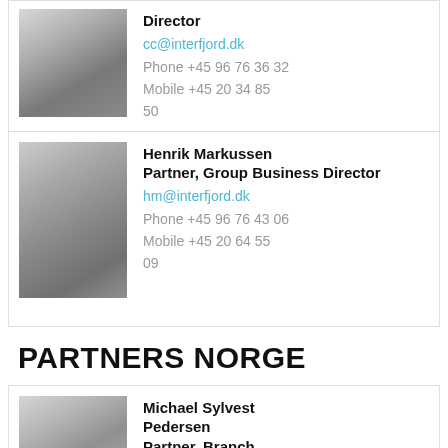[Figure (photo): Black and white headshot of a man with glasses in a suit, smiling]
Director
cc@interfjord.dk
Phone +45 96 76 36 32
Mobile +45 20 34 85 50
[Figure (photo): Black and white headshot of Henrik Markussen, a man in a suit smiling]
Henrik Markussen
Partner, Group Business Director
hm@interfjord.dk
Phone +45 96 76 43 06
Mobile +45 20 64 55 09
PARTNERS NORGE
[Figure (photo): Black and white headshot of Michael Sylvest Pedersen, a man with short hair]
Michael Sylvest Pedersen
Partner, Branch